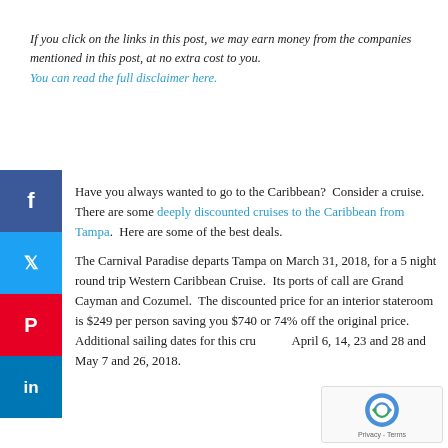If you click on the links in this post, we may earn money from the companies mentioned in this post, at no extra cost to you. You can read the full disclaimer here.
Have you always wanted to go to the Caribbean? Consider a cruise. There are some deeply discounted cruises to the Caribbean from Tampa. Here are some of the best deals.
The Carnival Paradise departs Tampa on March 31, 2018, for a 5 night round trip Western Caribbean Cruise. Its ports of call are Grand Cayman and Cozumel. The discounted price for an interior stateroom is $249 per person saving you $740 or 74% off the original price. Additional sailing dates for this cruise are April 6, 14, 23 and 28 and May 7 and 26, 2018.